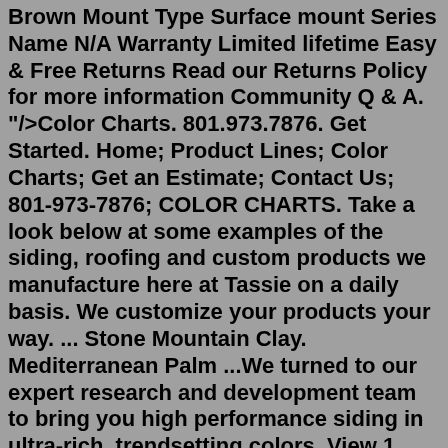Brown Mount Type Surface mount Series Name N/A Warranty Limited lifetime Easy & Free Returns Read our Returns Policy for more information Community Q & A. "/>Color Charts. 801.973.7876. Get Started. Home; Product Lines; Color Charts; Get an Estimate; Contact Us; 801-973-7876; COLOR CHARTS. Take a look below at some examples of the siding, roofing and custom products we manufacture here at Tassie on a daily basis. We customize your products your way. ... Stone Mountain Clay. Mediterranean Palm ...We turned to our expert research and development team to bring you high performance siding in ultra-rich, trendsetting colors. View 1 photos of this 4 bed, 3 bath, 1317 sqft. single family home located at 5521 Joeclay Dr, Stone Mountain, GA 30088 on sale now for $350000. Call or Live Chat for more details. 1 (725) 201-0303. Woodlands, Stone ...Fiber Cement Siding Products You Need. And Service You Deserve. The allure of Allura goes far beyond eye-catching curb appeal. On top of products worthy of the industry's strongest